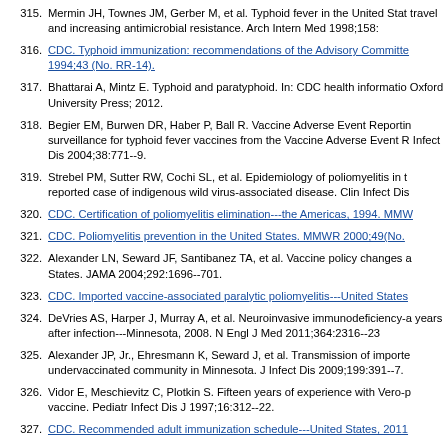315. Mermin JH, Townes JM, Gerber M, et al. Typhoid fever in the United States, 1985-1994: changing risks of international travel and increasing antimicrobial resistance. Arch Intern Med 1998;158:...
316. CDC. Typhoid immunization: recommendations of the Advisory Committee... 1994;43 (No. RR-14).
317. Bhattarai A, Mintz E. Typhoid and paratyphoid. In: CDC health information... Oxford University Press; 2012.
318. Begier EM, Burwen DR, Haber P, Ball R. Vaccine Adverse Event Reporting surveillance for typhoid fever vaccines from the Vaccine Adverse Event R... Infect Dis 2004;38:771--9.
319. Strebel PM, Sutter RW, Cochi SL, et al. Epidemiology of poliomyelitis in t... reported case of indigenous wild virus-associated disease. Clin Infect Dis...
320. CDC. Certification of poliomyelitis elimination---the Americas, 1994. MMW...
321. CDC. Poliomyelitis prevention in the United States. MMWR 2000;49(No....
322. Alexander LN, Seward JF, Santibanez TA, et al. Vaccine policy changes a... States. JAMA 2004;292:1696--701.
323. CDC. Imported vaccine-associated paralytic poliomyelitis---United States...
324. DeVries AS, Harper J, Murray A, et al. Neuroinvasive immunodeficiency-a... years after infection---Minnesota, 2008. N Engl J Med 2011;364:2316--23.
325. Alexander JP, Jr., Ehresmann K, Seward J, et al. Transmission of importe... undervaccinated community in Minnesota. J Infect Dis 2009;199:391--7.
326. Vidor E, Meschievitz C, Plotkin S. Fifteen years of experience with Vero-p... vaccine. Pediatr Infect Dis J 1997;16:312--22.
327. CDC. Recommended adult immunization schedule---United States, 2011...
328. Briss PA, Rodewald LE, Hinman AR, et al. Reviews of evidence regarding...